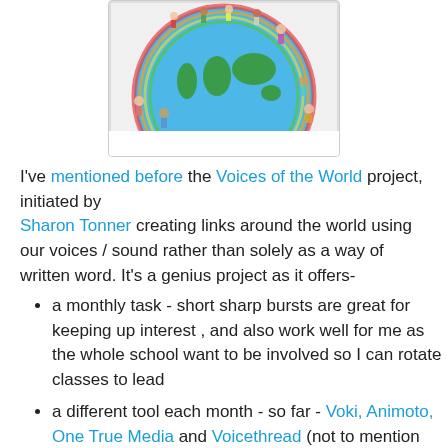[Figure (illustration): A colorful illustration of the Earth globe with children of diverse nationalities holding flags, arranged in a circle around the globe, shown as the top half of the circle (semicircle cropped at bottom).]
I've mentioned before the Voices of the World project, initiated by Sharon Tonner creating links around the world using our voices / sound rather than solely as a way of written word. It's a genius project as it offers-
a monthly task - short sharp bursts are great for keeping up interest , and also work well for me as the whole school want to be involved so I can rotate classes to lead
a different tool each month - so far - Voki, Animoto, One True Media and Voicethread (not to mention using Audacity and Flickr to gather and create things!) so we're introducing new ideas and techniques into the classroom - and they're